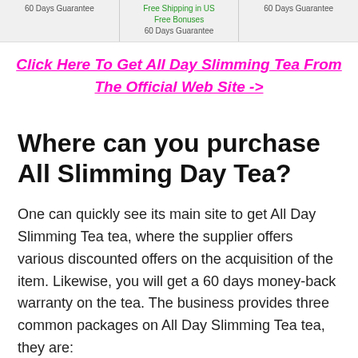[Figure (other): Three-column banner showing product package options with text '60 Days Guarantee', 'Free Shipping in US Free Bonuses 60 Days Guarantee', '60 Days Guarantee']
Click Here To Get All Day Slimming Tea From The Official Web Site ->
Where can you purchase All Slimming Day Tea?
One can quickly see its main site to get All Day Slimming Tea tea, where the supplier offers various discounted offers on the acquisition of the item. Likewise, you will get a 60 days money-back warranty on the tea. The business provides three common packages on All Day Slimming Tea tea, they are: